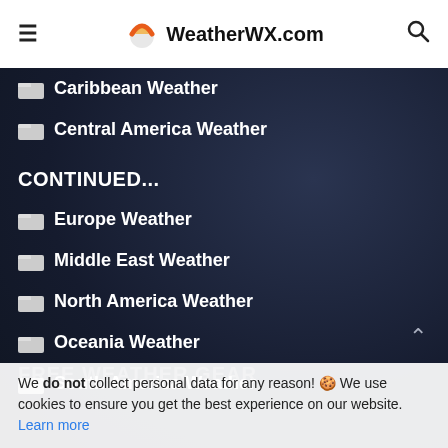WeatherWX.com
Caribbean Weather
Central America Weather
CONTINUED...
Europe Weather
Middle East Weather
North America Weather
Oceania Weather
South America Weather
FREE WEATHER GEAR
We do not collect personal data for any reason! 🍪 We use cookies to ensure you get the best experience on our website. Learn more